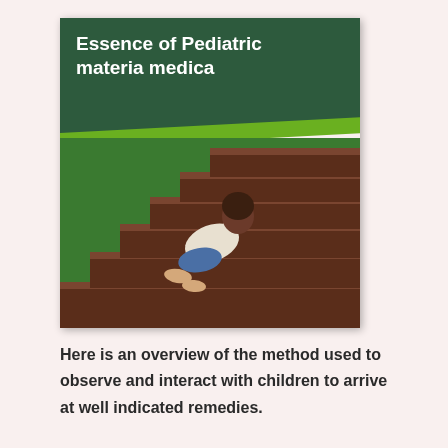[Figure (illustration): Book cover of 'Essence of Pediatric materia medica' by Dr. Pravin B. Jain MD (Hom). Cover shows dark green top section with white bold title, a bright green diagonal stripe, green middle section with subtitle 'INFANT | TODDLER | SCHOOLING CHILDREN', and a photo of a young child climbing wooden stairs from behind.]
Here is an overview of the method used to observe and interact with children to arrive at well indicated remedies.